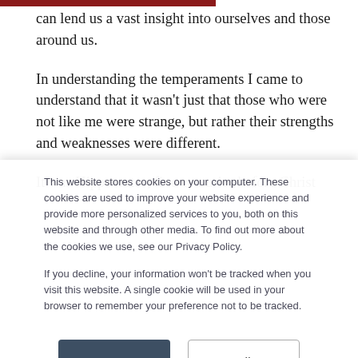can lend us a vast insight into ourselves and those around us.
In understanding the temperaments I came to understand that it wasn't just that those who were not like me were strange, but rather their strengths and weaknesses were different.
It was Hippocrates, five centuries before Christ
This website stores cookies on your computer. These cookies are used to improve your website experience and provide more personalized services to you, both on this website and through other media. To find out more about the cookies we use, see our Privacy Policy.

If you decline, your information won't be tracked when you visit this website. A single cookie will be used in your browser to remember your preference not to be tracked.